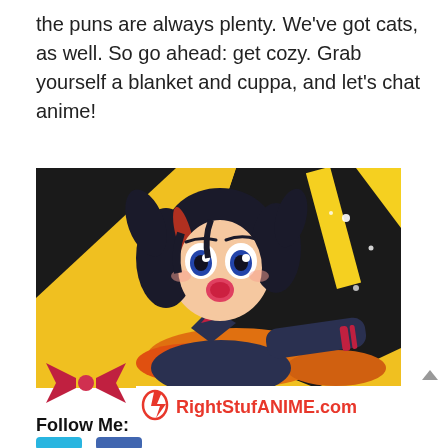the puns are always plenty. We've got cats, as well. So go ahead: get cozy. Grab yourself a blanket and cuppa, and let's chat anime!
[Figure (illustration): Anime girl character with black hair wearing a dark uniform, action pose, yellow and black background with dramatic effects. White banner at the bottom displays RightStufANIME.com logo with red lightning bolt icon.]
Follow Me: